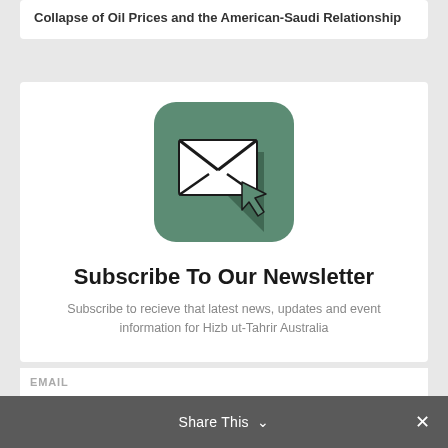Collapse of Oil Prices and the American-Saudi Relationship
[Figure (illustration): Newsletter subscription icon: green rounded square with white envelope and cursor arrow overlaid, with dark shadow]
Subscribe To Our Newsletter
Subscribe to recieve that latest news, updates and event information for Hizb ut-Tahrir Australia
EMAIL
Share This ∨  ✕